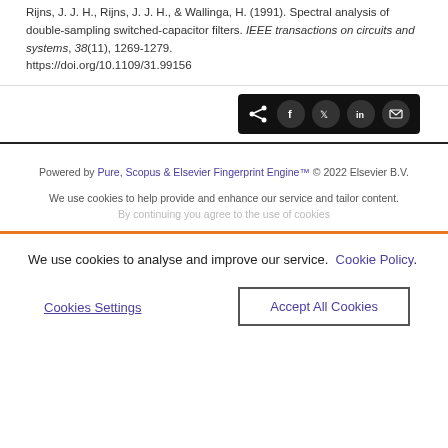Rijns, J. J. H., Rijns, J. J. H., & Wallinga, H. (1991). Spectral analysis of double-sampling switched-capacitor filters. IEEE transactions on circuits and systems, 38(11), 1269-1279. https://doi.org/10.1109/31.99156
[Figure (other): Social share buttons bar with icons for share, Facebook, Twitter, LinkedIn, and email on a dark background]
Powered by Pure, Scopus & Elsevier Fingerprint Engine™ © 2022 Elsevier B.V.
We use cookies to help provide and enhance our service and tailor content.
We use cookies to analyse and improve our service. Cookie Policy
Cookies Settings
Accept All Cookies